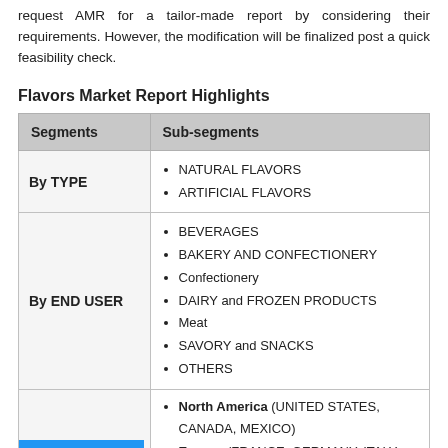request AMR for a tailor-made report by considering their requirements. However, the modification will be finalized post a quick feasibility check.
Flavors Market Report Highlights
| Segments | Sub-segments |
| --- | --- |
| By TYPE | NATURAL FLAVORS
ARTIFICIAL FLAVORS |
| By END USER | BEVERAGES
BAKERY AND CONFECTIONERY
Confectionery
DAIRY and FROZEN PRODUCTS
Meat
SAVORY and SNACKS
OTHERS |
| By Region (with Enquiry Now button) | North America (UNITED STATES, CANADA, MEXICO)
Europe (FRANCE, GERMANY, ITALY, SPAIN, UNITED KINGDOM, Russia, Rest of Europe)
Asia-Pacific (CHINA, JAPAN, INDIA |